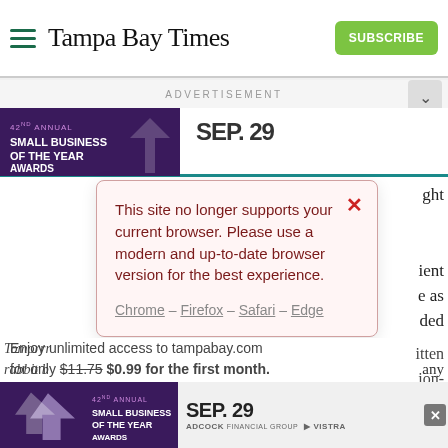Tampa Bay Times
ADVERTISEMENT
This site no longer supports your current browser. Please use a modern and up-to-date browser version for the best experience.
Chrome – Firefox – Safari – Edge
Enjoy unlimited access to tampabay.com for only $11.75 $0.99 for the first month.
Subscribe
Log In
Interested in print delivery? Subscribe here →
Tomorrow rabbit b
42ND ANNUAL SMALL BUSINESS OF THE YEAR AWARDS SEP. 29